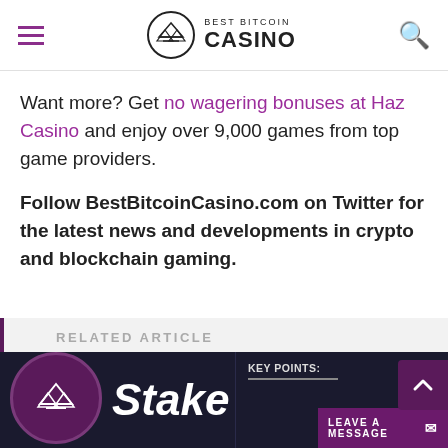BEST BITCOIN CASINO
Want more? Get no wagering bonuses at Haz Casino and enjoy over 9,000 games from top game providers.
Follow BestBitcoinCasino.com on Twitter for the latest news and developments in crypto and blockchain gaming.
RELATED ARTICLE
[Figure (screenshot): Related article card showing Stake casino logo and KEY POINTS section with LEAVE A MESSAGE button]